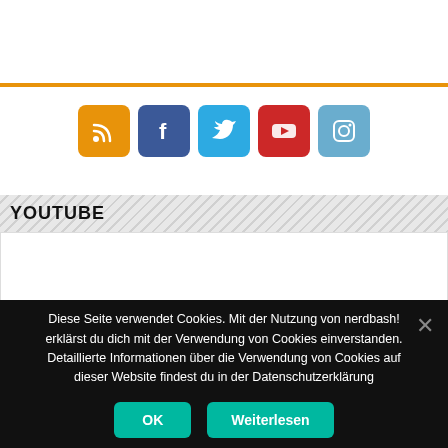[Figure (other): Orange horizontal divider line]
[Figure (other): Row of social media icon buttons: RSS (orange), Facebook (blue), Twitter (light blue), YouTube (red), Instagram (blue)]
YOUTUBE
[Figure (other): Empty white YouTube embed area]
Diese Seite verwendet Cookies. Mit der Nutzung von nerdbash! erklärst du dich mit der Verwendung von Cookies einverstanden. Detaillierte Informationen über die Verwendung von Cookies auf dieser Website findest du in der Datenschutzerklärung
OK  Weiterlesen